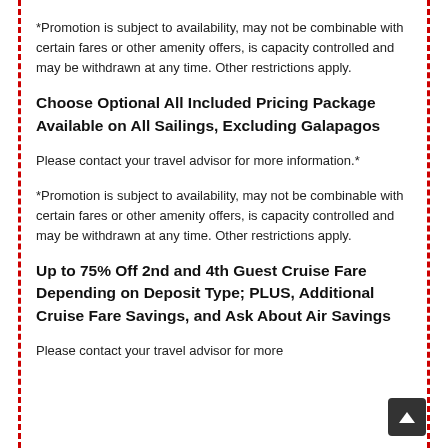*Promotion is subject to availability, may not be combinable with certain fares or other amenity offers, is capacity controlled and may be withdrawn at any time. Other restrictions apply.
Choose Optional All Included Pricing Package Available on All Sailings, Excluding Galapagos
Please contact your travel advisor for more information.*
*Promotion is subject to availability, may not be combinable with certain fares or other amenity offers, is capacity controlled and may be withdrawn at any time. Other restrictions apply.
Up to 75% Off 2nd and 4th Guest Cruise Fare Depending on Deposit Type; PLUS, Additional Cruise Fare Savings, and Ask About Air Savings
Please contact your travel advisor for more